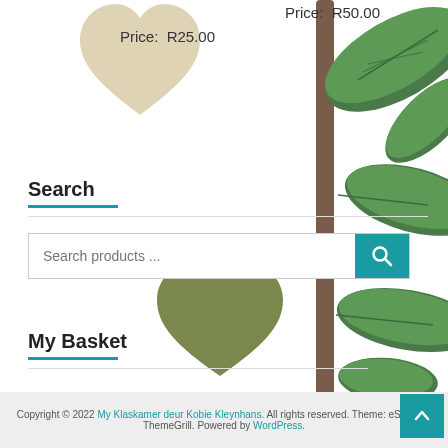Price:  R25.00
Price:  R50.00
[Figure (illustration): Beige/tan heart shape in upper left area]
[Figure (illustration): Decorative green tropical plant leaves on the right side]
Search
Search products ...
[Figure (illustration): Dark olive green heart shape in middle section]
My Basket
No products in the basket.
Copyright © 2022 My Klaskamer deur Kobie Kleynhans. All rights reserved. Theme: eStore by ThemeGrill. Powered by WordPress.